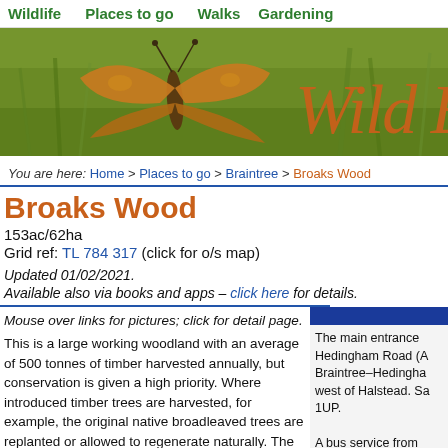Wildlife | Places to go | Walks | Gardening
[Figure (photo): Banner photo of orange butterfly on green grass background with 'Wild Es' italic text in orange/brown on the right side]
You are here: Home > Places to go > Braintree > Broaks Wood
Broaks Wood
153ac/62ha
Grid ref: TL 784 317 (click for o/s map)
Updated 01/02/2021.
Available also via books and apps – click here for details.
Mouse over links for pictures; click for detail page.
This is a large working woodland with an average of 500 tonnes of timber harvested annually, but conservation is given a high priority. Where introduced timber trees are harvested, for example, the original native broadleaved trees are replanted or allowed to regenerate naturally. The traditional method of coppicing is also
The main entrance Hedingham Road (A Braintree–Hedingha west of Halstead. Sa 1UP.

A bus service from